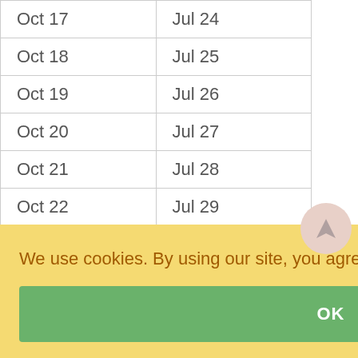| Oct  17 | Jul 24 |
| Oct  18 | Jul 25 |
| Oct  19 | Jul 26 |
| Oct  20 | Jul 27 |
| Oct  21 | Jul 28 |
| Oct  22 | Jul 29 |
| Oct  23 | Jul 30 |
| Oct  24 | Jul 31 |
| Oct  25 | Aug 1 |
| Oct  26 | Aug 2 |
| Oct 2022 | Date |
We use cookies. By using our site, you agree to our Cookie Policy. Learn more
OK